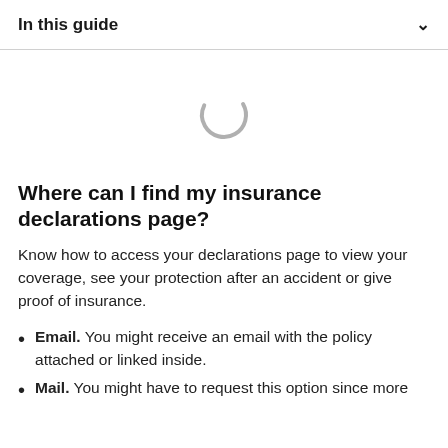In this guide
[Figure (other): Loading spinner — a grey partial circle arc indicating content is loading]
Where can I find my insurance declarations page?
Know how to access your declarations page to view your coverage, see your protection after an accident or give proof of insurance.
Email. You might receive an email with the policy attached or linked inside.
Mail. You might have to request this option since more